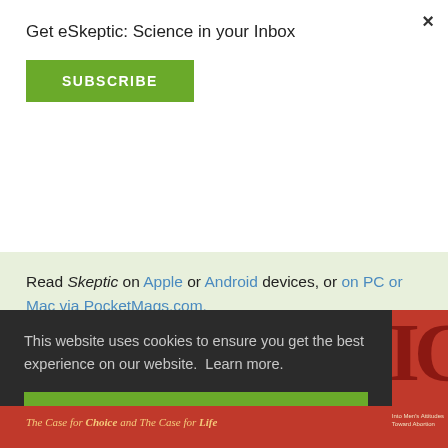×
Get eSkeptic: Science in your Inbox
SUBSCRIBE
Read Skeptic on Apple or Android devices, or on PC or Mac via PocketMags.com.
SKEPTIC 27.2
This website uses cookies to ensure you get the best experience on our website. Learn more.
GOT IT!
The Case for Choice and The Case for Life